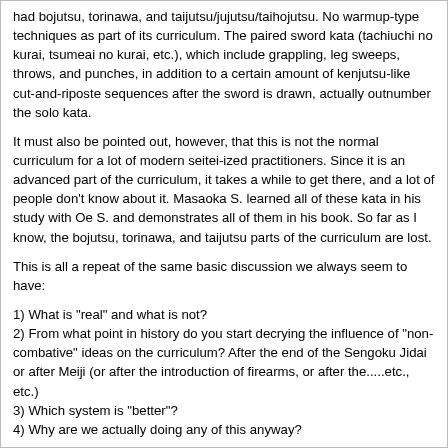had bojutsu, torinawa, and taijutsu/jujutsu/taihojutsu. No warmup-type techniques as part of its curriculum. The paired sword kata (tachiuchi no kurai, tsumeai no kurai, etc.), which include grappling, leg sweeps, throws, and punches, in addition to a certain amount of kenjutsu-like cut-and-riposte sequences after the sword is drawn, actually outnumber the solo kata.
It must also be pointed out, however, that this is not the normal curriculum for a lot of modern seitei-ized practitioners. Since it is an advanced part of the curriculum, it takes a while to get there, and a lot of people don't know about it. Masaoka S. learned all of these kata in his study with Oe S. and demonstrates all of them in his book. So far as I know, the bojutsu, torinawa, and taijutsu parts of the curriculum are lost.
This is all a repeat of the same basic discussion we always seem to have:
1) What is "real" and what is not?
2) From what point in history do you start decrying the influence of "non-combative" ideas on the curriculum? After the end of the Sengoku Jidai or after Meiji (or after the introduction of firearms, or after the.....etc., etc.)
3) Which system is "better"?
4) Why are we actually doing any of this anyway?
Personally, practicing any kind of bugei as an exercise in aesthetics does not interest me too much. I am not a violent person by nature (at least I hope not), and I can appreciate beauty as much as the next guy (I hope) but I think that being impressed with the performance of kata AS AN EXERCISE IN AESTHETICS is missing the point.
This is an especially sensitive point with me because of my practice of kyudo. Most people who don't know anything about kyudo seem to think that it is a kind of "tea ceremony" archery, where aesthetic refinement is the goal. It is OK for a neophyte to be impressed with that aspect of kyudo, or any bugei, which does, of course, exist. However, the real aesthetic beauty of the bugei, as opposed to the surface prettiness, is completely a result of the performance being true to the real nature of the art. That is, the real beauty comes from the inner nature of the art, it does NOT mean that the art is beautiful because it conforms to some arbitrary idea of manners, elegance, or refinement. Form is NOT content. Content determines form. Or, to stand Marshall McLuhan on his